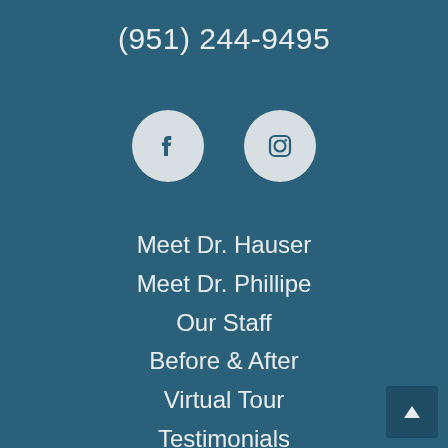(951) 244-9495
[Figure (illustration): Facebook and Instagram social media icon circles on dark teal background]
Meet Dr. Hauser
Meet Dr. Phillipe
Our Staff
Before & After
Virtual Tour
Testimonials
Services
FAQ